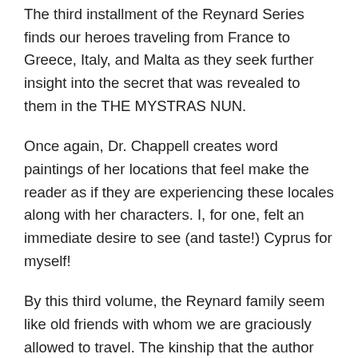The third installment of the Reynard Series finds our heroes traveling from France to Greece, Italy, and Malta as they seek further insight into the secret that was revealed to them in the THE MYSTRAS NUN.
Once again, Dr. Chappell creates word paintings of her locations that feel make the reader as if they are experiencing these locales along with her characters. I, for one, felt an immediate desire to see (and taste!) Cyprus for myself!
By this third volume, the Reynard family seem like old friends with whom we are graciously allowed to travel. The kinship that the author elicits between her readers and her characters is one of the great joys of reading these novels. When they are in danger, you fear for them; when they are savoring the fruits of life, you revel with them; when they are pondering life's mysteries and contradictions, you think